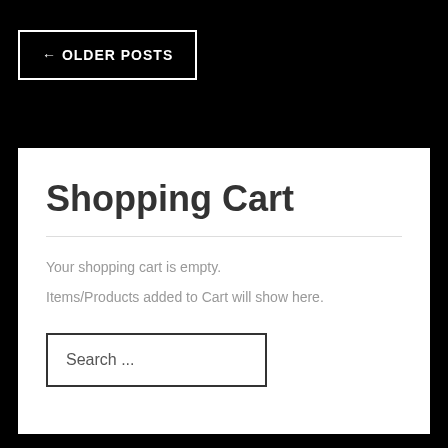← OLDER POSTS
Shopping Cart
Your shopping cart is empty.
Items/Products added to Cart will show here.
Search ...